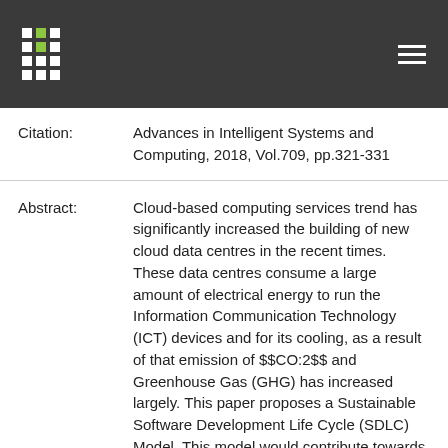Citation: Advances in Intelligent Systems and Computing, 2018, Vol.709, pp.321-331
Abstract: Cloud-based computing services trend has significantly increased the building of new cloud data centres in the recent times. These data centres consume a large amount of electrical energy to run the Information Communication Technology (ICT) devices and for its cooling, as a result of that emission of $$CO:2$$ and Greenhouse Gas (GHG) has increased largely. This paper proposes a Sustainable Software Development Life Cycle (SDLC) Model. This model would contribute towards making the cloud computing systems more energy efficient and the ICT a green and sustainable development ecosystem. The Green Cloud Computing will be considered as an implementation platform for the proposed Sustainable SDLC. It is proposed that reusable, modular and cloud-shared development